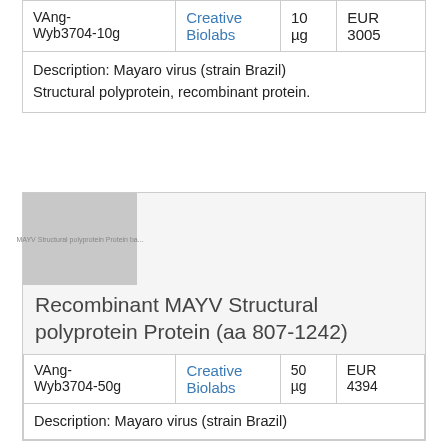| Catalog | Vendor | Qty | Price |
| --- | --- | --- | --- |
| VAng-Wyb3704-10g | Creative Biolabs | 10 µg | EUR 3005 |
| Description: Mayaro virus (strain Brazil) Structural polyprotein, recombinant protein. |  |  |  |
[Figure (photo): Product image placeholder for MAYV Structural polyprotein Protein]
Recombinant MAYV Structural polyprotein Protein (aa 807-1242)
| Catalog | Vendor | Qty | Price |
| --- | --- | --- | --- |
| VAng-Wyb3704-50g | Creative Biolabs | 50 µg | EUR 4394 |
| Description: Mayaro virus (strain Brazil) |  |  |  |